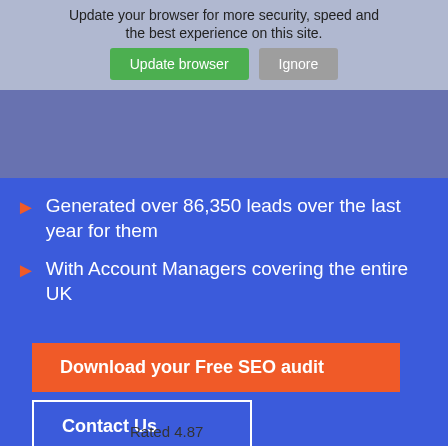Update your browser for more security, speed and the best experience on this site.
We have worked with 65 concrete suppliers
Generated over 86,350 leads over the last year for them
With Account Managers covering the entire UK
Download your Free SEO audit
Contact Us
Rated 4.87